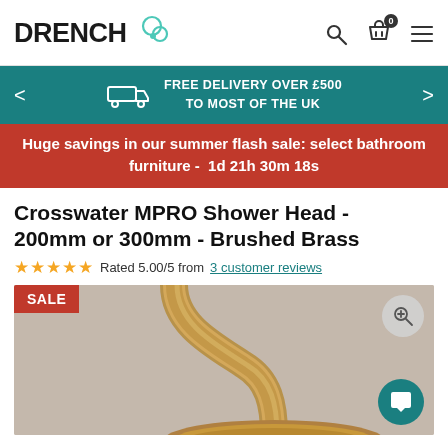DRENCH
FREE DELIVERY OVER £500 TO MOST OF THE UK
Huge savings in our summer flash sale: select bathroom furniture - 1d 21h 30m 18s
Crosswater MPRO Shower Head - 200mm or 300mm - Brushed Brass
Rated 5.00/5 from 3 customer reviews
[Figure (photo): Crosswater MPRO Shower Head in Brushed Brass finish, showing arm and head detail with a SALE badge overlay]